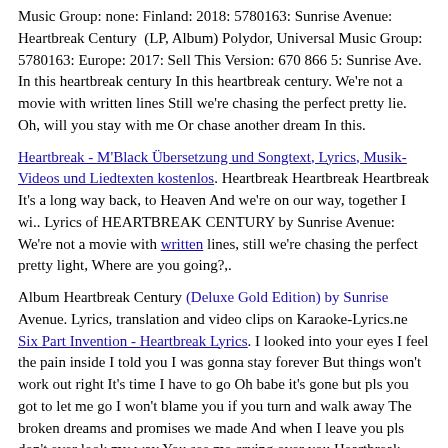Music Group: none: Finland: 2018: 5780163: Sunrise Avenue: Heartbreak Century (LP, Album) Polydor, Universal Music Group: 5780163: Europe: 2017: Sell This Version: 670 866 5: Sunrise Ave. In this heartbreak century In this heartbreak century. We're not a movie with written lines Still we're chasing the perfect pretty lie. Oh, will you stay with me Or chase another dream In this.
Heartbreak - M'Black Übersetzung und Songtext, Lyrics, Musik-Videos und Liedtexten kostenlos. Heartbreak Heartbreak Heartbreak It's a long way back, to Heaven And we're on our way, together I wi.. Lyrics of HEARTBREAK CENTURY by Sunrise Avenue: We're not a movie with written lines, still we're chasing the perfect pretty light, Where are you going?,.
Album Heartbreak Century (Deluxe Gold Edition) by Sunrise Avenue. Lyrics, translation and video clips on Karaoke-Lyrics.ne Six Part Invention - Heartbreak Lyrics. I looked into your eyes I feel the pain inside I told you I was gonna stay forever But things won't work out right It's time I have to go Oh babe it's gone but pls you got to let me go I won't blame you if you turn and walk away The broken dreams and promises we made And when I leave you pls don't ever look my way You see me crying over you Heartbreak.
Übersetzung Sunrise Avenue - Choose to Be Me Songtext
Find Sunrise Avenue Heartbreak Century full album lyrics from lyrics007.com. Heartbreak Century Album Cover Art